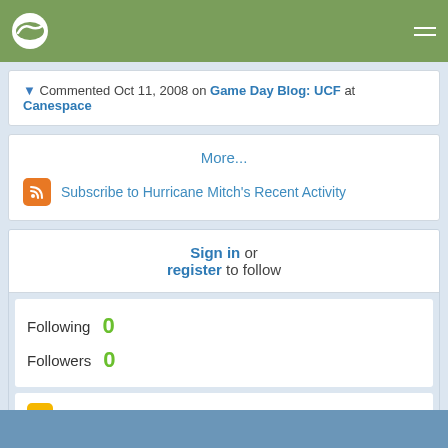Navigation bar with logo and menu
▼ Commented Oct 11, 2008 on Game Day Blog: UCF at Canespace
More...
Subscribe to Hurricane Mitch's Recent Activity
Sign in or register to follow
Following 0
Followers 0
0 Favorites
Footer bar